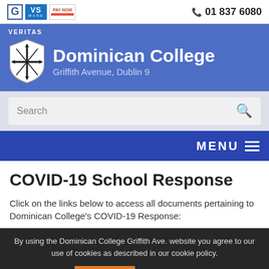G | VS WARE | PAY NOW | 01 837 6080
Dominican College Griffith Avenue, Dublin 9
Search
MENU
COVID-19 School Response
Click on the links below to access all documents pertaining to Dominican College's COVID-19 Response:
By using the Dominican College Griffith Ave. website you agree to our use of cookies as described in our cookie policy.
I agree   Learn more